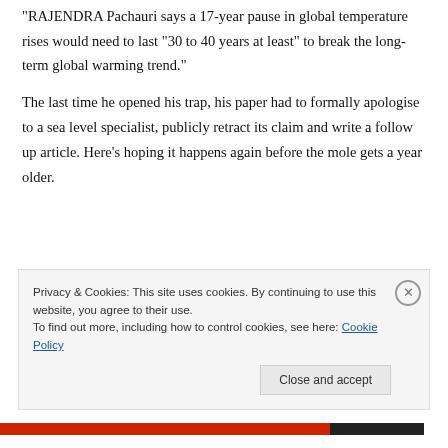“RAJENDRA Pachauri says a 17-year pause in global temperature rises would need to last “30 to 40 years at least” to break the long-term global warming trend.”
The last time he opened his trap, his paper had to formally apologise to a sea level specialist, publicly retract its claim and write a follow up article. Here’s hoping it happens again before the mole gets a year older.
Privacy & Cookies: This site uses cookies. By continuing to use this website, you agree to their use.
To find out more, including how to control cookies, see here: Cookie Policy